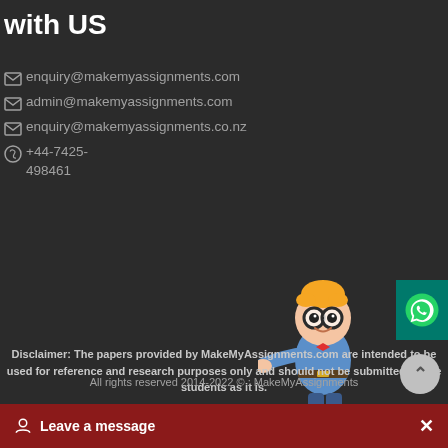with US
enquiry@makemyassignments.com
admin@makemyassignments.com
enquiry@makemyassignments.co.nz
+44-7425-498461
[Figure (illustration): Cartoon mascot of a student with orange hair, glasses, and casual clothes, pointing to the right]
Disclaimer: The papers provided by MakeMyAssignments.com are intended to be used for reference and research purposes only and should not be submitted by the students as it is.
All rights reserved 2014-2022 © : MakeMyAssignments
Leave a message